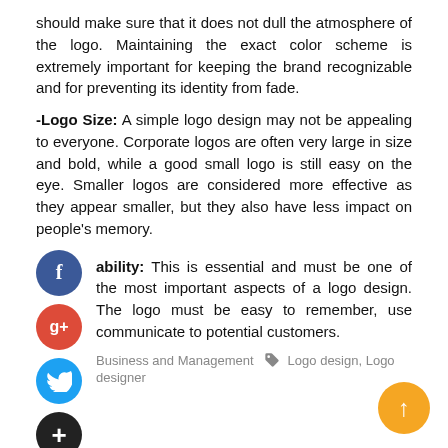should make sure that it does not dull the atmosphere of the logo. Maintaining the exact color scheme is extremely important for keeping the brand recognizable and for preventing its identity from fade.
-Logo Size: A simple logo design may not be appealing to everyone. Corporate logos are often very large in size and bold, while a good small logo is still easy on the eye. Smaller logos are considered more effective as they appear smaller, but they also have less impact on people's memory.
ability: This is essential and must be one of the most important aspects of a logo design. The logo must be easy to remember, use communicate to potential customers.
Business and Management  Logo design, Logo designer
How To Find The Best Immigration Translation Services In the UK?